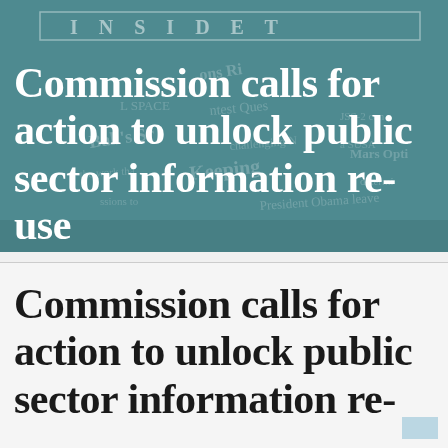[Figure (photo): Newspaper front page photograph with teal/blue-green tint overlay showing headlines including 'INSIDE T...', with text fragments visible including 'Ball's', 'SPACE', 'Keeping', 'Mars Optio', 'Obama leave']
Commission calls for action to unlock public sector information re-use
Commission calls for action to unlock public sector information re-